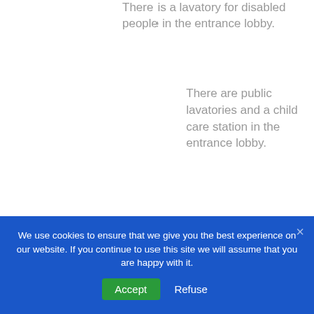There is a lavatory for disabled people in the entrance lobby.
There are public lavatories and a child care station in the entrance lobby.
The museum is mainly
We use cookies to ensure that we give you the best experience on our website. If you continue to use this site we will assume that you are happy with it.